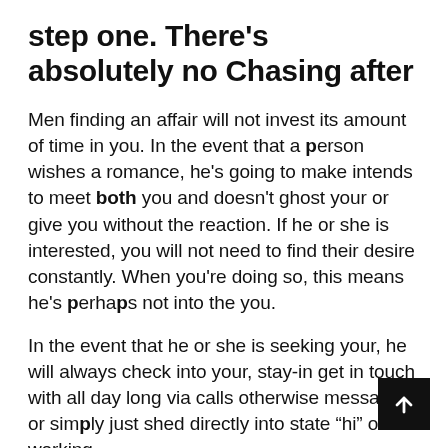step one. There's absolutely no Chasing after
Men finding an affair will not invest its amount of time in you. In the event that a person wishes a romance, he's going to make intends to meet both you and doesn't ghost your or give you without the reaction. If he or she is interested, you will not need to find their desire constantly. When you're doing so, this means he's perhaps not into the you.
In the event that he or she is seeking your, he will always check into your, stay-in get in touch with all day long via calls otherwise messages, or simply just shed directly into state “hi” of working.
dos. He Opens up To you personally